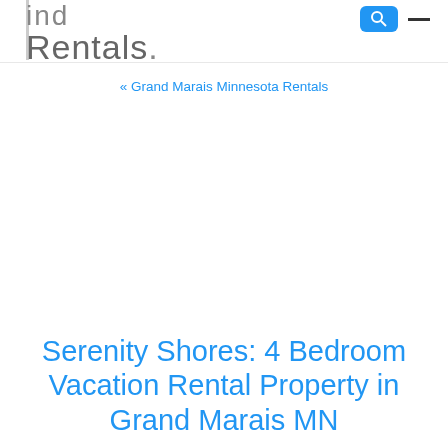ind Rentals.
« Grand Marais Minnesota Rentals
Serenity Shores: 4 Bedroom Vacation Rental Property in Grand Marais MN